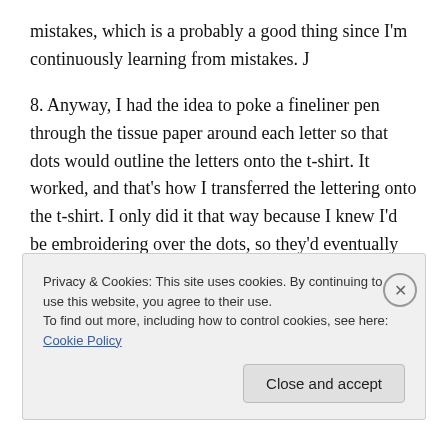mistakes, which is a probably a good thing since I'm continuously learning from mistakes. J
8. Anyway, I had the idea to poke a fineliner pen through the tissue paper around each letter so that dots would outline the letters onto the t-shirt. It worked, and that's how I transferred the lettering onto the t-shirt. I only did it that way because I knew I'd be embroidering over the dots, so they'd eventually be hidden.
9. Next, I dug out some blue and green embroidery floss
Privacy & Cookies: This site uses cookies. By continuing to use this website, you agree to their use.
To find out more, including how to control cookies, see here: Cookie Policy
Close and accept